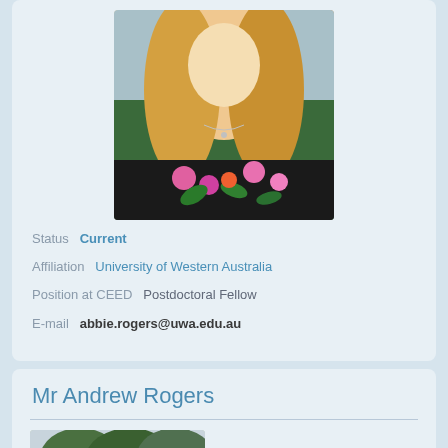[Figure (photo): Portrait photo of a young blonde woman wearing a floral strapless top, with green foliage in the background]
Status  Current
Affiliation  University of Western Australia
Position at CEED  Postdoctoral Fellow
E-mail  abbie.rogers@uwa.edu.au
Mr Andrew Rogers
[Figure (photo): Partial photo of a person outdoors with trees in the background]